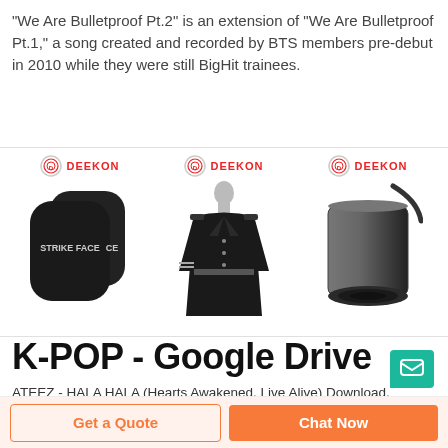"We Are Bulletproof Pt.2" is an extension of "We Are Bulletproof Pt.1," a song created and recorded by BTS members pre-debut in 2010 while they were still BigHit trainees.
[Figure (photo): Three product images from DEEKON brand: ballistic strike face plates (body armor), a dark military/police uniform coat on a mannequin, and a black cylindrical device (possibly a suppressor or baton). Each image has a DEEKON logo badge above it.]
K-POP - Google Drive
ATEEZ - HALA HALA (Hearts Awakened, Live Alive) Download.
B.A.P - Bang X2
Get a Quote
Chat Now